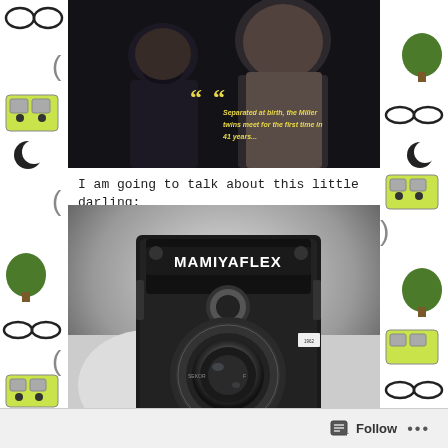[Figure (photo): Dark cinematic photo of two shirtless men facing each other, with yellow quotation marks and italic yellow text overlay reading: Separated at birth, the Miller twins meet for the first time in 41 years...]
I am going to talk about this little darling:
[Figure (photo): Black and white close-up photograph of a Mamiyaflex twin-lens reflex camera]
Follow ...